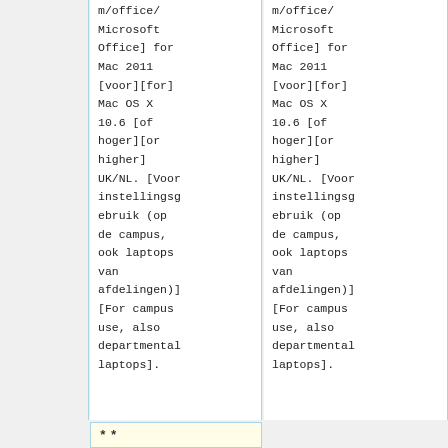|  | Column 1 | Column 2 |
| --- | --- | --- |
|  | m/office/
Microsoft
Office] for
Mac 2011
[voor][for]
Mac OS X
10.6 [of
hoger][or
higher]
UK/NL. [Voor
instellingsg
ebruik (op
de campus,
ook laptops
van
afdelingen)]
[For campus
use, also
departmental
laptops]. | m/office/
Microsoft
Office] for
Mac 2011
[voor][for]
Mac OS X
10.6 [of
hoger][or
higher]
UK/NL. [Voor
instellingsg
ebruik (op
de campus,
ook laptops
van
afdelingen)]
[For campus
use, also
departmental
laptops]. |
**